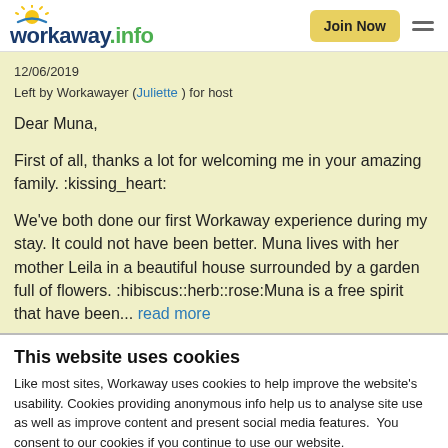workaway.info — Join Now (navigation bar)
12/06/2019
Left by Workawayer (Juliette ) for host
Dear Muna,

First of all, thanks a lot for welcoming me in your amazing family. :kissing_heart:

We've both done our first Workaway experience during my stay. It could not have been better. Muna lives with her mother Leila in a beautiful house surrounded by a garden full of flowers. :hibiscus::herb::rose:Muna is a free spirit that have been... read more
This website uses cookies
Like most sites, Workaway uses cookies to help improve the website's usability. Cookies providing anonymous info help us to analyse site use as well as improve content and present social media features.  You consent to our cookies if you continue to use our website.